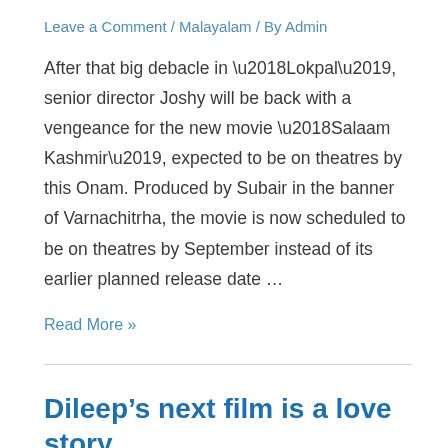Leave a Comment / Malayalam / By Admin
After that big debacle in ‘Lokpal’, senior director Joshy will be back with a vengeance for the new movie ‘Salaam Kashmir’, expected to be on theatres by this Onam. Produced by Subair in the banner of Varnachitrha, the movie is now scheduled to be on theatres by September instead of its earlier planned release date …
Read More »
Dileep’s next film is a love story